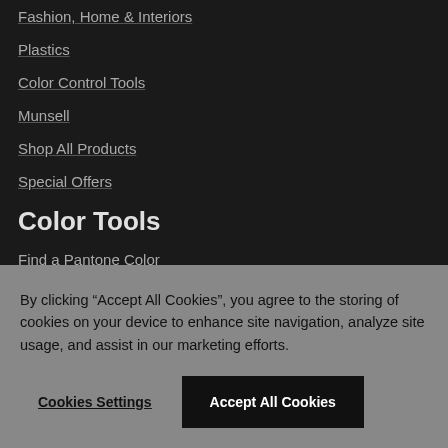Fashion, Home & Interiors
Plastics
Color Control Tools
Munsell
Shop All Products
Special Offers
Color Tools
Find a Pantone Color
Color Cross-Reference
Color IQ Test
Software Download
By clicking "Accept All Cookies", you agree to the storing of cookies on your device to enhance site navigation, analyze site usage, and assist in our marketing efforts.
Cookies Settings
Accept All Cookies